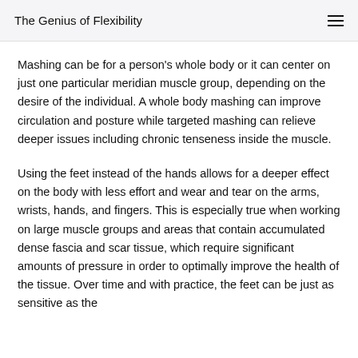The Genius of Flexibility
Mashing can be for a person's whole body or it can center on just one particular meridian muscle group, depending on the desire of the individual. A whole body mashing can improve circulation and posture while targeted mashing can relieve deeper issues including chronic tenseness inside the muscle.
Using the feet instead of the hands allows for a deeper effect on the body with less effort and wear and tear on the arms, wrists, hands, and fingers. This is especially true when working on large muscle groups and areas that contain accumulated dense fascia and scar tissue, which require significant amounts of pressure in order to optimally improve the health of the tissue. Over time and with practice, the feet can be just as sensitive as the